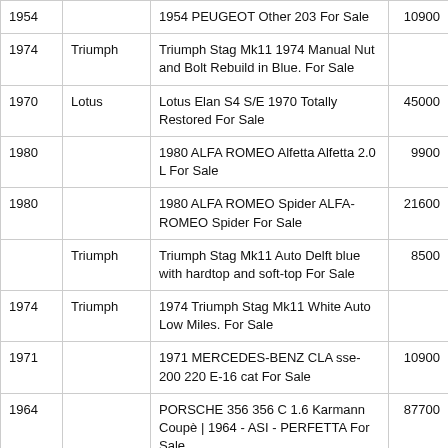| Year | Make | Description | Price |
| --- | --- | --- | --- |
| 1954 |  | 1954 PEUGEOT Other 203 For Sale | 10900 |
| 1974 | Triumph | Triumph Stag Mk11 1974 Manual Nut and Bolt Rebuild in Blue. For Sale |  |
| 1970 | Lotus | Lotus Elan S4 S/E 1970 Totally Restored For Sale | 45000 |
| 1980 |  | 1980 ALFA ROMEO Alfetta Alfetta 2.0 L For Sale | 9900 |
| 1980 |  | 1980 ALFA ROMEO Spider ALFA-ROMEO Spider For Sale | 21600 |
|  | Triumph | Triumph Stag Mk11 Auto Delft blue with hardtop and soft-top For Sale | 8500 |
| 1974 | Triumph | 1974 Triumph Stag Mk11 White Auto Low Miles. For Sale |  |
| 1971 |  | 1971 MERCEDES-BENZ CLA sse-200 220 E-16 cat For Sale | 10900 |
| 1964 |  | PORSCHE 356 356 C 1.6 Karmann Coupè | 1964 - ASI - PERFETTA For Sale | 87700 |
| 1978 |  | 1978 ALFA ROMEO Giulietta 1.6 GANCIO TRAINO DOCUMENTI ORIGINALI For Sale | 7700 |